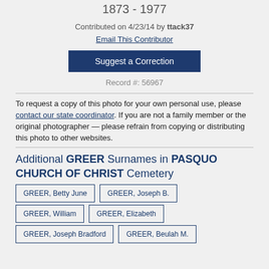1873 - 1977
Contributed on 4/23/14 by ttack37
Email This Contributor
Suggest a Correction
Record #: 56967
To request a copy of this photo for your own personal use, please contact our state coordinator. If you are not a family member or the original photographer — please refrain from copying or distributing this photo to other websites.
Additional GREER Surnames in PASQUO CHURCH OF CHRIST Cemetery
GREER, Betty June
GREER, Joseph B.
GREER, William
GREER, Elizabeth
GREER, Joseph Bradford
GREER, Beulah M.